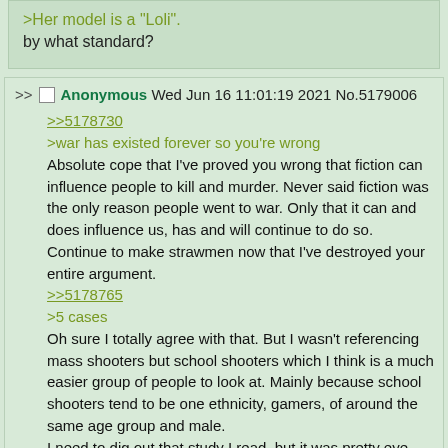>Her model is a "Loli".
by what standard?
Anonymous Wed Jun 16 11:01:19 2021 No.5179006
>>5178730
>war has existed forever so you're wrong
Absolute cope that I've proved you wrong that fiction can influence people to kill and murder. Never said fiction was the only reason people went to war. Only that it can and does influence us, has and will continue to do so. Continue to make strawmen now that I've destroyed your entire argument.
>>5178765
>5 cases
Oh sure I totally agree with that. But I wasn't referencing mass shooters but school shooters which I think is a much easier group of people to look at. Mainly because school shooters tend to be one ethnicity, gamers, of around the same age group and male.
I need to dig out that study I read, but it was pretty eye opening on how most school shooters were avid gamers and often addicted to gaming.